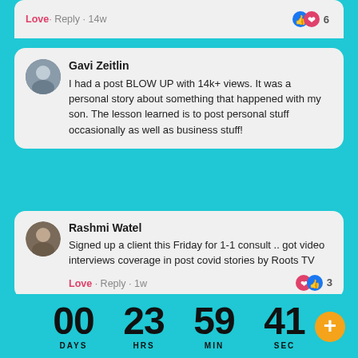Love · Reply · 14w
Gavi Zeitlin
I had a post BLOW UP with 14k+ views. It was a personal story about something that happened with my son. The lesson learned is to post personal stuff occasionally as well as business stuff!
Rashmi Watel
Signed up a client this Friday for 1-1 consult .. got video interviews coverage in post covid stories by Roots TV
Love · Reply · 1w
Win #2: yesterday someone I don't know posted on LI that she needed a writer. Someone I DO know tagged me in the response. It's a cookie-based business. If you know me and have seen my website, all of my branding for my writing work is around cookie-baking (service names, verbiage, etc.). Sent her a connection +
00 23 59 41
DAYS HRS MIN SEC